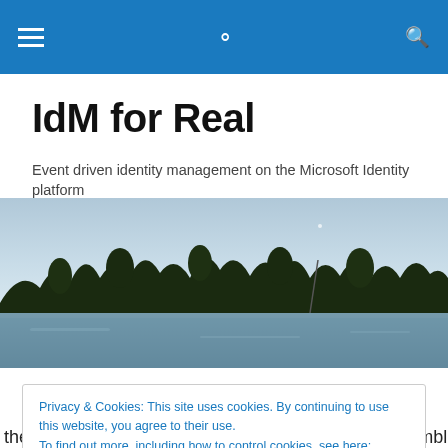IdM for Real — navigation bar with hamburger menu and search icon
IdM for Real
Event driven identity management on the Microsoft Identity platform
[Figure (photo): Landscape photo showing a treeline along a calm river or lake under a hazy sky]
Privacy & Cookies: This site uses cookies. By continuing to use this website, you agree to their use.
To find out more, including how to control cookies, see here: Cookie Policy
Close and accept
the operating system – in my case today with the humble